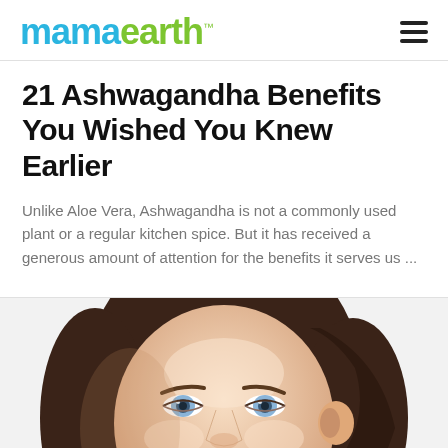mamaearth™
21 Ashwagandha Benefits You Wished You Knew Earlier
Unlike Aloe Vera, Ashwagandha is not a commonly used plant or a regular kitchen spice. But it has received a generous amount of attention for the benefits it serves us ...
[Figure (photo): Close-up portrait of a young woman with blue eyes, brown hair pulled back, looking at the camera with a calm expression and subtle makeup.]